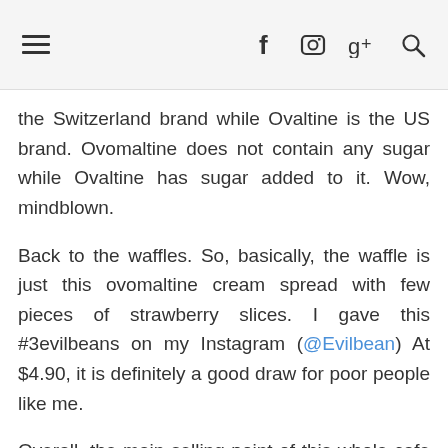≡  f  [instagram]  g+  [search]
the Switzerland brand while Ovaltine is the US brand. Ovomaltine does not contain any sugar while Ovaltine has sugar added to it. Wow, mindblown.
Back to the waffles. So, basically, the waffle is just this ovomaltine cream spread with few pieces of strawberry slices. I gave this #3evilbeans on my Instagram (@Evilbean) At $4.90, it is definitely a good draw for poor people like me.
Overall, the main selling point of this whole cafe is still the retro theme. Jointly opened by Mediacorp artistes Felicia Chin and Sora Ma, this cafe serves as a place for people to retreat away from the